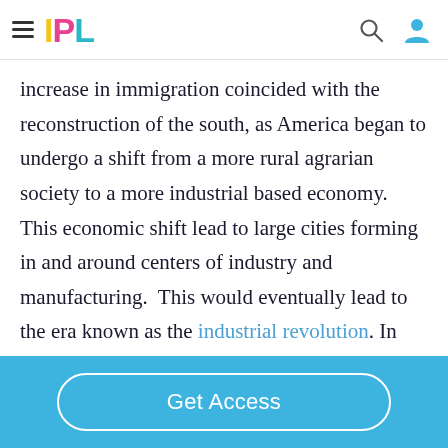IPL
increase in immigration coincided with the reconstruction of the south, as America began to undergo a shift from a more rural agrarian society to a more industrial based economy. This economic shift lead to large cities forming in and around centers of industry and manufacturing.  This would eventually lead to the era known as the industrial revolution. In
Get Access